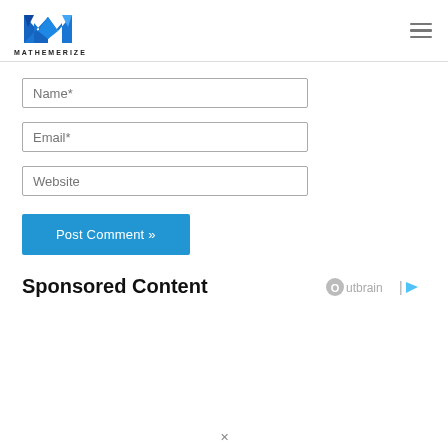[Figure (logo): Mathemerize logo with blue M letter mark and text MATHEMERIZE below]
Name*
Email*
Website
Post Comment »
Sponsored Content
[Figure (logo): Outbrain logo]